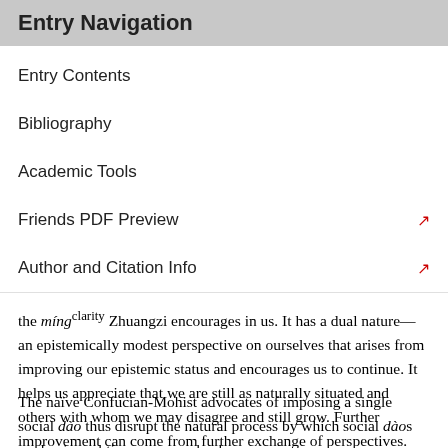Entry Navigation
Entry Contents
Bibliography
Academic Tools
Friends PDF Preview
Author and Citation Info
the míng^clarity Zhuangzi encourages in us. It has a dual nature—an epistemically modest perspective on ourselves that arises from improving our epistemic status and encourages us to continue. It helps us appreciate that we are still as naturally situated and others with whom we may disagree and still grow. Further improvement can come from further exchange of perspectives.
The naïve Confucian-Mohist advocates of imposing a single social dào thus disrupt the natural process by which social dàos evolve in real time as we seek a harmony